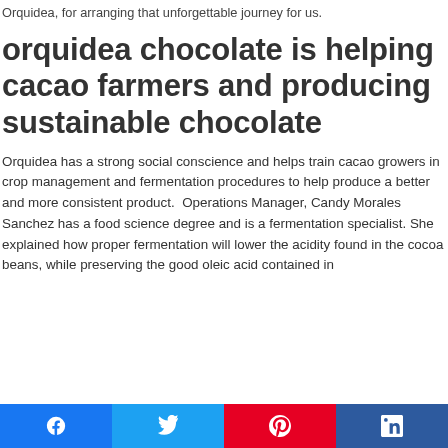Orquidea, for arranging that unforgettable journey for us.
orquidea chocolate is helping cacao farmers and producing sustainable chocolate
Orquidea has a strong social conscience and helps train cacao growers in crop management and fermentation procedures to help produce a better and more consistent product.  Operations Manager, Candy Morales Sanchez has a food science degree and is a fermentation specialist. She explained how proper fermentation will lower the acidity found in the cocoa beans, while preserving the good oleic acid contained in